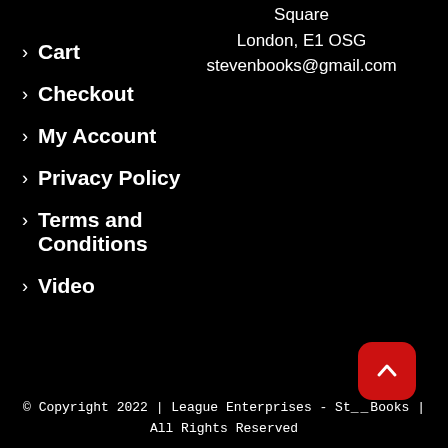Square
London, E1 OSG
stevenbooks@gmail.com
> Cart
> Checkout
> My Account
> Privacy Policy
> Terms and Conditions
> Video
© Copyright 2022 | League Enterprises - St__Books | All Rights Reserved